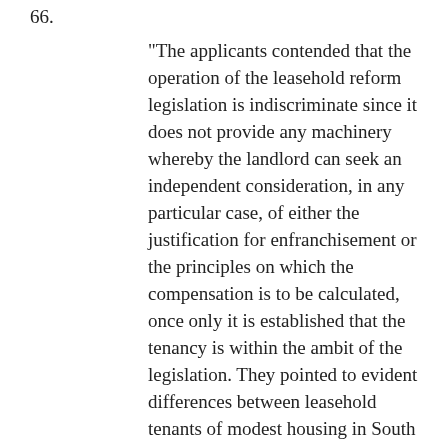66.
"The applicants contended that the operation of the leasehold reform legislation is indiscriminate since it does not provide any machinery whereby the landlord can seek an independent consideration, in any particular case, of either the justification for enfranchisement or the principles on which the compensation is to be calculated, once only it is established that the tenancy is within the ambit of the legislation. They pointed to evident differences between leasehold tenants of modest housing in South Wales and the better off, middle-class tenants on their Estate in Belgravia, who on the whole could not be classified as needy or deserving of protection. In their submission, in order to avoid injustice for the landlord as well as the tenant, the legislation should have provided for judicial review